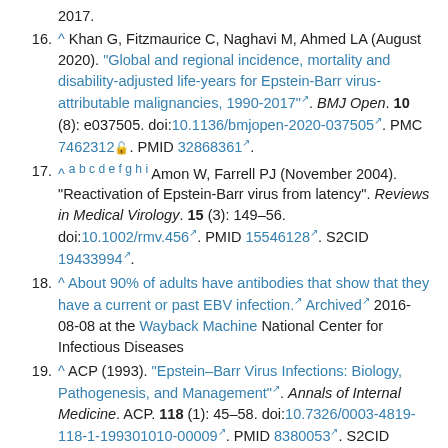2017.
16. ^ Khan G, Fitzmaurice C, Naghavi M, Ahmed LA (August 2020). "Global and regional incidence, mortality and disability-adjusted life-years for Epstein-Barr virus-attributable malignancies, 1990-2017". BMJ Open. 10 (8): e037505. doi:10.1136/bmjopen-2020-037505. PMC 7462312. PMID 32868361.
17. ^ a b c d e f g h i Amon W, Farrell PJ (November 2004). "Reactivation of Epstein-Barr virus from latency". Reviews in Medical Virology. 15 (3): 149-56. doi:10.1002/rmv.456. PMID 15546128. S2CID 19433994.
18. ^ About 90% of adults have antibodies that show that they have a current or past EBV infection. Archived 2016-08-08 at the Wayback Machine National Center for Infectious Diseases
19. ^ ACP (1993). "Epstein-Barr Virus Infections: Biology, Pathogenesis, and Management". Annals of Internal Medicine. ACP. 118 (1): 45-58. doi:10.7326/0003-4819-118-1-199301010-00009. PMID 8380053. S2CID 53090545. Archived from the original on 8 December 2017. Retrieved 8 December 2017.
20. ^ CDC. "Epstein-Barr Virus and Infectious